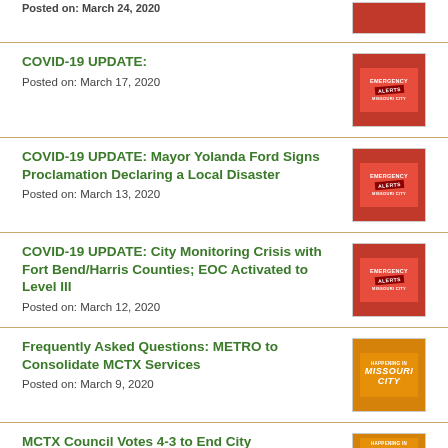COVID-19 UPDATE:
Posted on: March 17, 2020
COVID-19 UPDATE: Mayor Yolanda Ford Signs Proclamation Declaring a Local Disaster
Posted on: March 13, 2020
COVID-19 UPDATE: City Monitoring Crisis with Fort Bend/Harris Counties; EOC Activated to Level III
Posted on: March 12, 2020
Frequently Asked Questions: METRO to Consolidate MCTX Services
Posted on: March 9, 2020
MCTX Council Votes 4-3 to End City